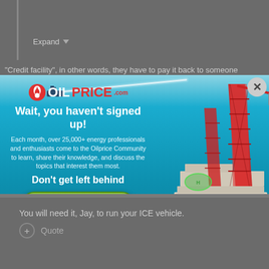Expand
"Credit facility", in other words, they have to pay it back to someone
[Figure (screenshot): OilPrice.com modal popup advertisement over ocean/oil rig background. Contains OilPrice.com logo, headline 'Wait, you haven't signed up!', body text about 25,000+ energy professionals, subheadline 'Don't get left behind', and green 'Sign Up Today!' button. Close button (X) in top right corner.]
You will need it, Jay, to run your ICE vehicle.
Quote